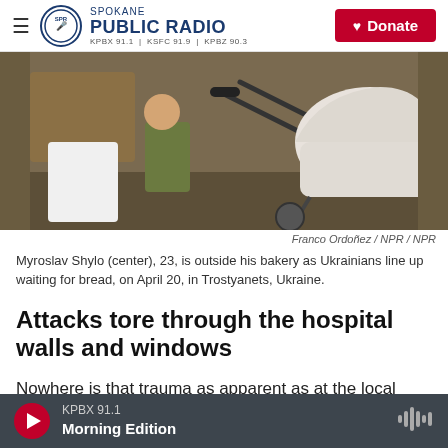Spokane Public Radio — KPBX 91.1 | KSFC 91.9 | KPBZ 90.3 | Donate
[Figure (photo): A person in a brown jacket and white pants pushes a white baby stroller/pram outdoors. A child in olive pants stands nearby. Photo taken in Trostyanets, Ukraine on April 20, during a bread line outside a bakery.]
Franco Ordoñez / NPR / NPR
Myroslav Shylo (center), 23, is outside his bakery as Ukrainians line up waiting for bread, on April 20, in Trostyanets, Ukraine.
Attacks tore through the hospital walls and windows
Nowhere is that trauma as apparent as at the local
KPBX 91.1 — Morning Edition